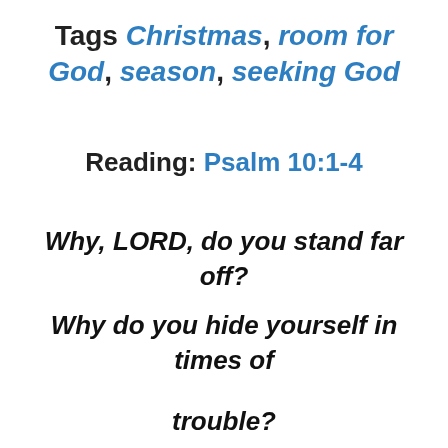Tags Christmas, room for God, season, seeking God
Reading: Psalm 10:1-4
Why, LORD, do you stand far off? Why do you hide yourself in times of trouble?
In his arrogance the wicked man hunts